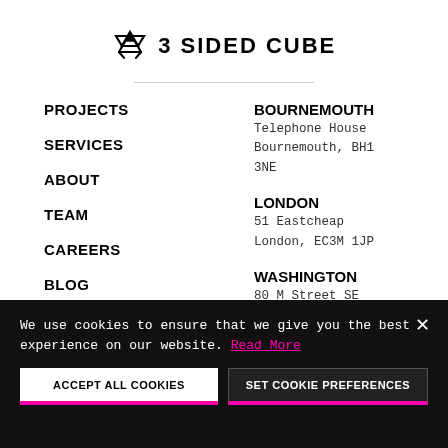[Figure (logo): 3 Sided Cube logo with recycling-arrows icon and bold text '3 SIDED CUBE']
PROJECTS
SERVICES
ABOUT
TEAM
CAREERS
BLOG
IGNITE
BOURNEMOUTH
Telephone House
Bournemouth, BH1 3NE
LONDON
51 Eastcheap
London, EC3M 1JP
WASHINGTON
80 M Street SE
Washington, D.C 20003
We use cookies to ensure that we give you the best experience on our website. Read More
ACCEPT ALL COOKIES
SET COOKIE PREFERENCES